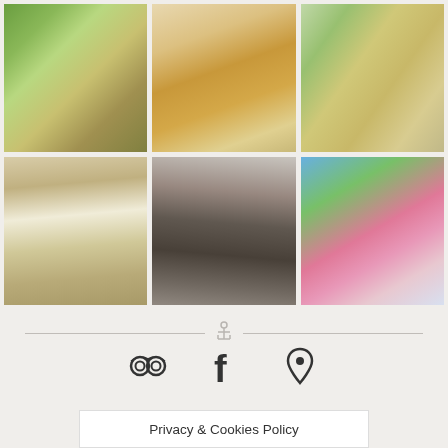[Figure (photo): Grid of 6 hotel/resort photos showing outdoor dining areas, furniture, garden views with flowers, and scenic coastal landscape]
[Figure (infographic): Horizontal divider with anchor icon in the center]
[Figure (infographic): Social media icons: TripAdvisor (binoculars), Facebook (f), and map pin/location icon]
Privacy & Cookies Policy